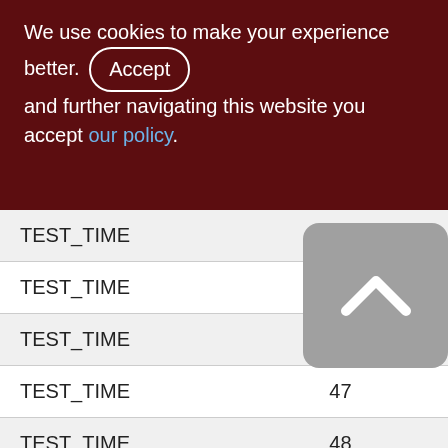We use cookies to make your experience better. By accepting and further navigating this website you accept our policy.
| TEST_TIME | 44 |
| TEST_TIME | 45 |
| TEST_TIME | 46 |
| TEST_TIME | 47 |
| TEST_TIME | 48 |
| TEST_TIME | 49 |
| TEST_TIME | 50 |
| TEST_TIME | 51 |
| TEST_TIME | 52 |